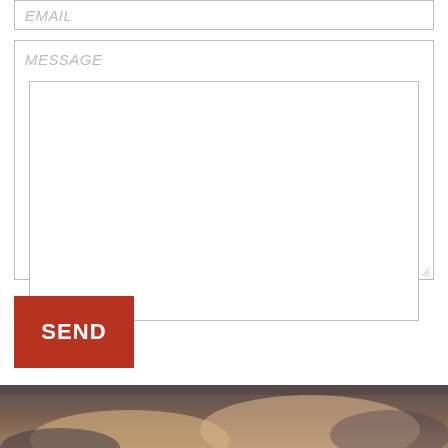EMAIL
MESSAGE
SEND
[Figure (photo): Partial view of a person's hands/arms at the bottom of the page, appearing to be in a warm-toned photographic image]